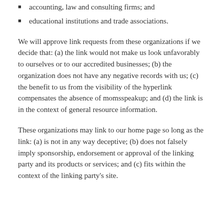accounting, law and consulting firms; and
educational institutions and trade associations.
We will approve link requests from these organizations if we decide that: (a) the link would not make us look unfavorably to ourselves or to our accredited businesses; (b) the organization does not have any negative records with us; (c) the benefit to us from the visibility of the hyperlink compensates the absence of momsspeakup; and (d) the link is in the context of general resource information.
These organizations may link to our home page so long as the link: (a) is not in any way deceptive; (b) does not falsely imply sponsorship, endorsement or approval of the linking party and its products or services; and (c) fits within the context of the linking party's site.